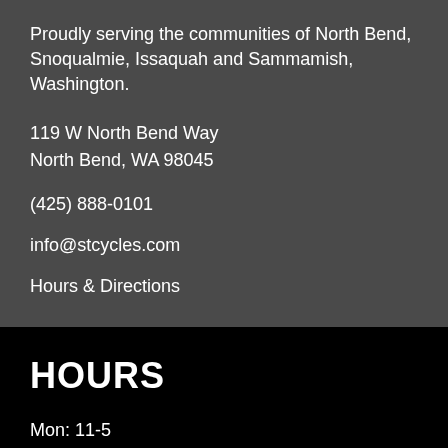Proudly serving the communities of North Bend, Snoqualmie, Issaquah and Sammamish, Washington.
119 W North Bend Way
North Bend, WA 98045
(425) 888-0101
info@stcycles.com
Hours & Directions
HOURS
Mon: 11-5
Tue: CLOSED
Wed: - Fri 11-6
Sat: 10-5
Sun: CLOSED